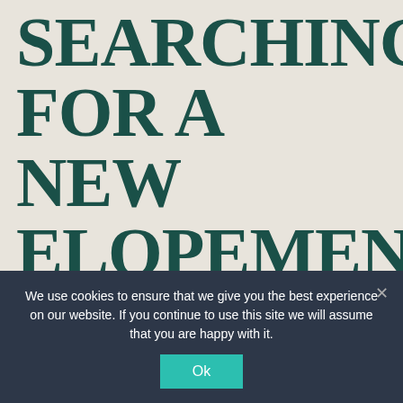SEARCHING FOR A NEW ELOPEMENT WEDDING VENUE
Becky and Morgan got in touch with us in June
We use cookies to ensure that we give you the best experience on our website. If you continue to use this site we will assume that you are happy with it.